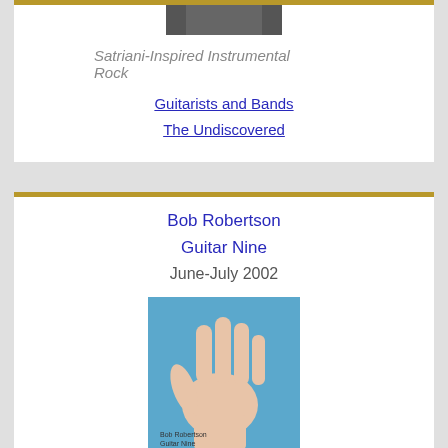[Figure (photo): Partial view of album artwork at top of page]
Satriani-Inspired Instrumental Rock
Guitarists and Bands
The Undiscovered
Bob Robertson
Guitar Nine
June-July 2002
[Figure (photo): Album cover showing a hand with fingers spread against a blue background, with text Bob Robertson and Guitar Nine at the bottom]
Scotland's Fingerstyle Export
Guitarists and Bands
The Undiscovered